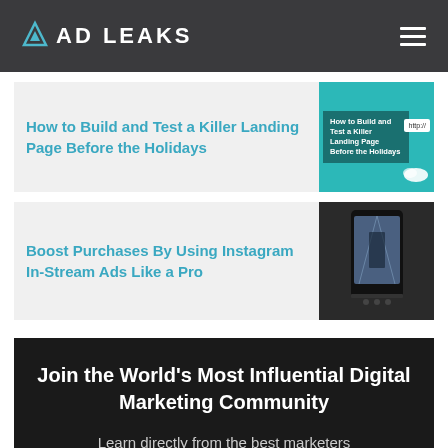ADLEAKS
How to Build and Test a Killer Landing Page Before the Holidays
[Figure (screenshot): Thumbnail showing text 'How to Build and Test a Killer Landing Page Before the Holidays' with teal background and http:// URL box]
Boost Purchases By Using Instagram In-Stream Ads Like a Pro
[Figure (photo): Hand holding a smartphone showing an Instagram feed]
Join the World's Most Influential Digital Marketing Community
Learn directly from the best marketers